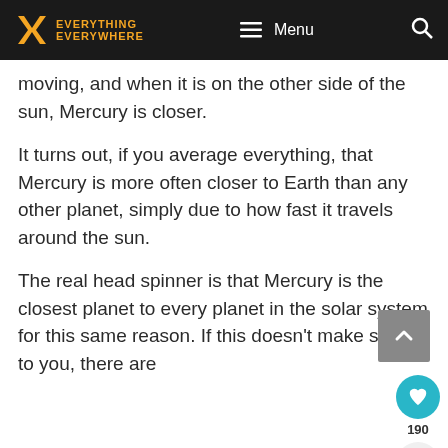Everything Everywhere — Menu (navigation header)
moving, and when it is on the other side of the sun, Mercury is closer.
It turns out, if you average everything, that Mercury is more often closer to Earth than any other planet, simply due to how fast it travels around the sun.
The real head spinner is that Mercury is the closest planet to every planet in the solar system for this same reason. If this doesn't make sense to you, there are